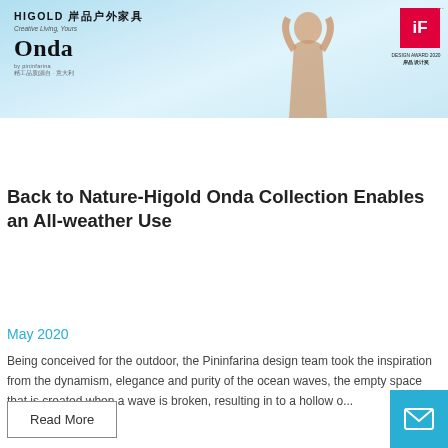[Figure (photo): HIGOLD outdoor furniture advertisement banner with Onda collection branding, showing a woman silhouette against a light blue sky background, with iF Design Award badge in top right corner]
Back to Nature-Higold Onda Collection Enables an All-weather Use
May 2020
Being conceived for the outdoor, the Pininfarina design team took the inspiration from the dynamism, elegance and purity of the ocean waves, the empty space that is created when a wave is broken, resulting in to a hollow o...